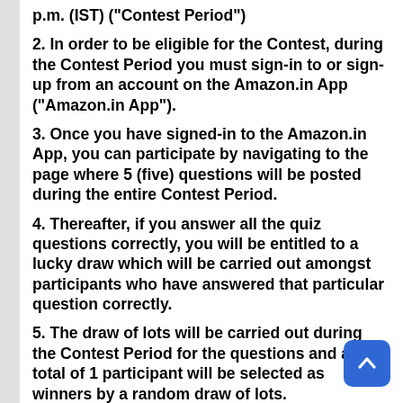p.m. (IST) ("Contest Period")
2. In order to be eligible for the Contest, during the Contest Period you must sign-in to or sign-up from an account on the Amazon.in App ("Amazon.in App").
3. Once you have signed-in to the Amazon.in App, you can participate by navigating to the page where 5 (five) questions will be posted during the entire Contest Period.
4. Thereafter, if you answer all the quiz questions correctly, you will be entitled to a lucky draw which will be carried out amongst participants who have answered that particular question correctly.
5. The draw of lots will be carried out during the Contest Period for the questions and a total of 1 participant will be selected as winners by a random draw of lots.